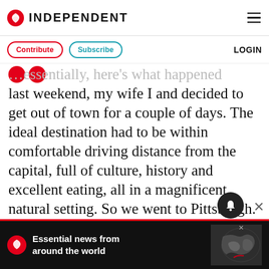INDEPENDENT
Contribute  Subscribe  LOGIN
last weekend, my wife I and decided to get out of town for a couple of days. The ideal destination had to be within comfortable driving distance from the capital, full of culture, history and excellent eating, all in a magnificent natural setting. So we went to Pittsburgh.
Yes, Pittsburgh, "Steel Town", the cradle of American heavy industry, where the furnaces used to blaze night and day, and the m...
Essential news from around the world